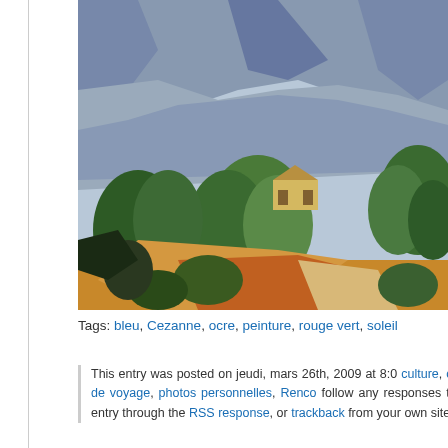[Figure (illustration): Post-impressionist painting in the style of Cézanne showing a landscape with Mont Sainte-Victoire: green trees in foreground, a yellow house in the middle distance, orange-ochre earth tones in the lower portion, and blue-grey mountain under a light sky in the background.]
Tags: bleu, Cezanne, ocre, peinture, rouge vert, soleil...
This entry was posted on jeudi, mars 26th, 2009 at 8:0... culture, carnet de voyage, photos personnelles, Renco... follow any responses to this entry through the RSS ... response, or trackback from your own site.